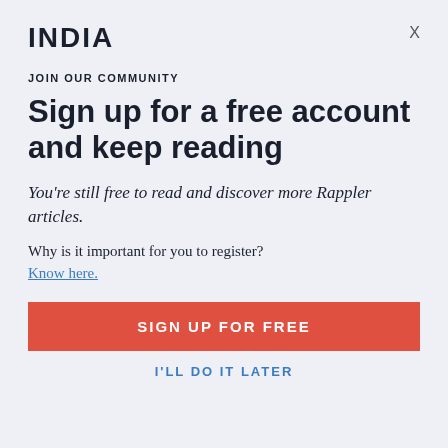INDIA
X
JOIN OUR COMMUNITY
Sign up for a free account and keep reading
You're still free to read and discover more Rappler articles.
Why is it important for you to register?
Know here.
SIGN UP FOR FREE
I'LL DO IT LATER